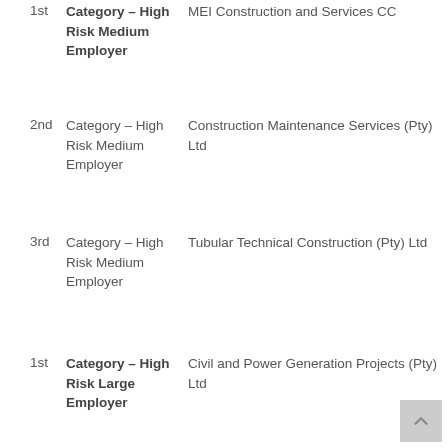1st  Category – High Risk Medium Employer  MEI Construction and Services CC
2nd  Category – High Risk Medium Employer  Construction Maintenance Services (Pty) Ltd
3rd  Category – High Risk Medium Employer  Tubular Technical Construction (Pty) Ltd
1st  Category – High Risk Large Employer  Civil and Power Generation Projects (Pty) Ltd